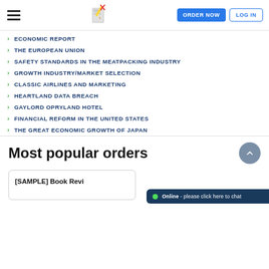ORDER NOW | LOG IN
ECONOMIC REPORT
THE EUROPEAN UNION
SAFETY STANDARDS IN THE MEATPACKING INDUSTRY
GROWTH INDUSTRY/MARKET SELECTION
CLASSIC AIRLINES AND MARKETING
HEARTLAND DATA BREACH
GAYLORD OPRYLAND HOTEL
FINANCIAL REFORM IN THE UNITED STATES
THE GREAT ECONOMIC GROWTH OF JAPAN
Most popular orders
[SAMPLE] Book Revi...
Online - please click here to chat